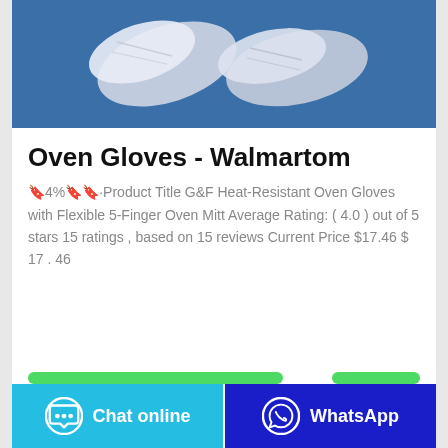[Figure (photo): Two white/transparent oven gloves lying on a blue background]
Oven Gloves - Walmartom
🔖4%🔖🔖·Product Title G&F Heat-Resistant Oven Gloves with Flexible 5-Finger Oven Mitt Average Rating: ( 4.0 ) out of 5 stars 15 ratings , based on 15 reviews Current Price $17.46 $ 17 . 46